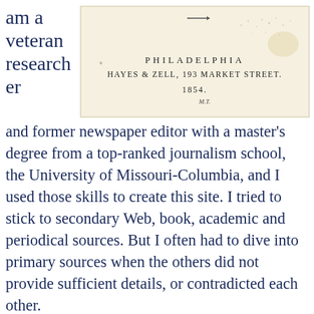am a veteran researcher
[Figure (photo): Title page of a book published in Philadelphia by Hayes & Zell, 193 Market Street, 1854, with handwritten initials M.T.]
and former newspaper editor with a master's degree from a top-ranked journalism school, the University of Missouri-Columbia, and I used those skills to create this site. I tried to stick to secondary Web, book, academic and periodical sources. But I often had to dive into primary sources when the others did not provide sufficient details, or contradicted each other.
Some types of evidence are more reliable than others, of course. I followed a strict hierarchy of evidence to mitigate the effects of memory loss